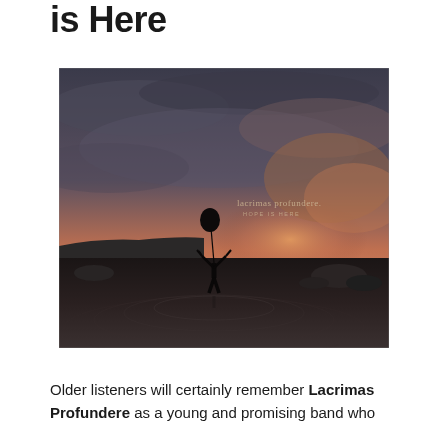is Here
[Figure (photo): Album cover for Lacrimas Profundere 'Hope Is Here'. A moody, atmospheric image showing a silhouetted figure standing in still water holding a black balloon, against a dramatic twilight sky with warm orange and cool grey tones. The band name 'lacrimas profundere' and 'HOPE IS HERE' text appear in the upper-right area of the image.]
Older listeners will certainly remember Lacrimas Profundere as a young and promising band who